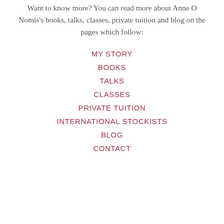Want to know more? You can read more about Anne O Nomis's books, talks, classes, private tuition and blog on the pages which follow:
MY STORY
BOOKS
TALKS
CLASSES
PRIVATE TUITION
INTERNATIONAL STOCKISTS
BLOG
CONTACT